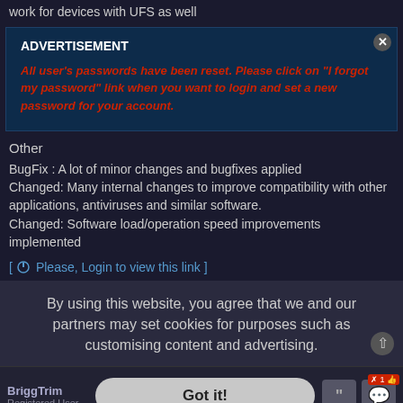work for devices with UFS as well
[Figure (other): Advertisement box with close button, showing ADVERTISEMENT header and password reset notice in red italic bold text: All user's passwords have been reset. Please click on 'I forgot my password' link when you want to login and set a new password for your account.]
Other
BugFix : A lot of minor changes and bugfixes applied
Changed: Many internal changes to improve compatibility with other applications, antiviruses and similar software.
Changed: Software load/operation speed improvements implemented
[ Please, Login to view this link]
By using this website, you agree that we and our partners may set cookies for purposes such as customising content and advertising.
BriggTrim
Registered User
Got it!
Re: Infinity Chinese Miracle-2 MTK/Mediatek v2.10 - New